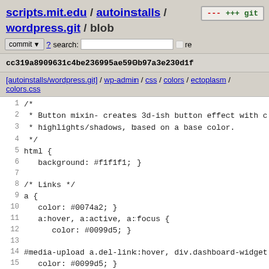scripts.mit.edu / autoinstalls / wordpress.git / blob
cc319a8909631c4be236995ae590b97a3e230d1f
[autoinstalls/wordpress.git] / wp-admin / css / colors / ectoplasm / colors.css
[Figure (screenshot): Source code viewer showing CSS file content with line numbers 1-19+]
1  /*
2  * Button mixin- creates 3d-ish button effect with corr
3  * highlights/shadows, based on a base color.
4  */
5 html {
6   background: #f1f1f1; }
7
8 /* Links */
9 a {
10   color: #0074a2; }
11   a:hover, a:active, a:focus {
12     color: #0099d5; }
13
14 #media-upload a.del-link:hover, div.dashboard-widget-su
15   color: #0099d5; }
16
17 /* Forms */
18 input[type=checkbox]:checked:before {
19   color: #523f6d; }